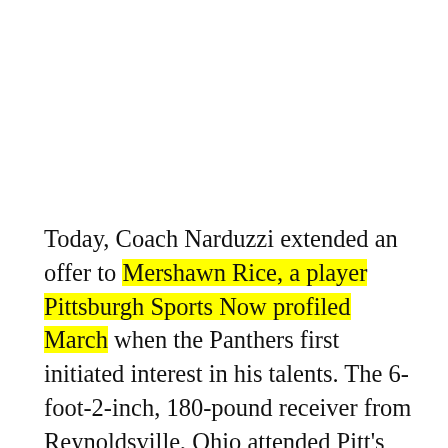Today, Coach Narduzzi extended an offer to Mershawn Rice, a player Pittsburgh Sports Now profiled March when the Panthers first initiated interest in his talents. The 6-foot-2-inch, 180-pound receiver from Reynoldsville, Ohio attended Pitt's prospect camp this weekend, and following his performance in the camp's athletic testing, received the exciting news